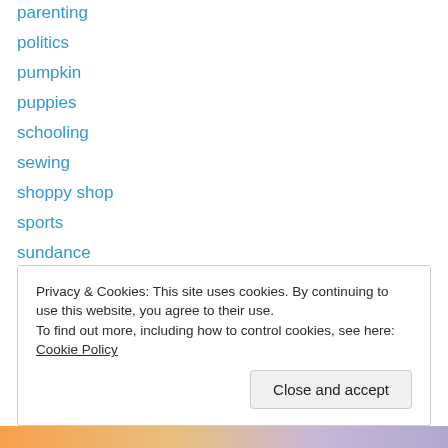parenting
politics
pumpkin
puppies
schooling
sewing
shoppy shop
sports
sundance
toddler stuff
travel
true crime
tv!
Privacy & Cookies: This site uses cookies. By continuing to use this website, you agree to their use. To find out more, including how to control cookies, see here: Cookie Policy
Close and accept